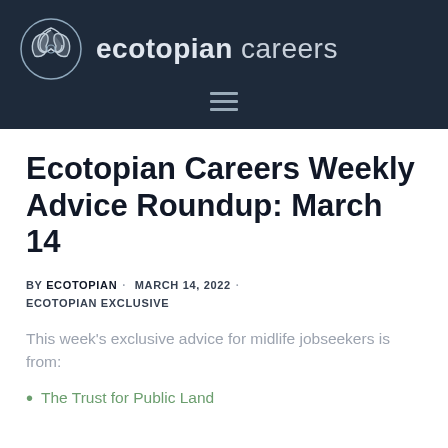[Figure (logo): Ecotopian Careers logo: circular leaf/nature icon on dark navy background alongside text 'ecotopian careers' with a hamburger menu icon below]
Ecotopian Careers Weekly Advice Roundup: March 14
BY ECOTOPIAN · MARCH 14, 2022 · ECOTOPIAN EXCLUSIVE
This week's exclusive advice for midlife jobseekers is from:
The Trust for Public Land